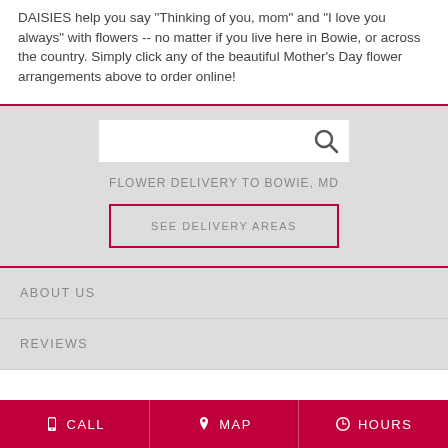DAISIES help you say "Thinking of you, mom" and "I love you always" with flowers -- no matter if you live here in Bowie, or across the country. Simply click any of the beautiful Mother's Day flower arrangements above to order online!
[Figure (other): Search bar with magnifying glass icon on light gray background]
FLOWER DELIVERY TO BOWIE, MD
SEE DELIVERY AREAS
ABOUT US
REVIEWS
CALL   MAP   HOURS